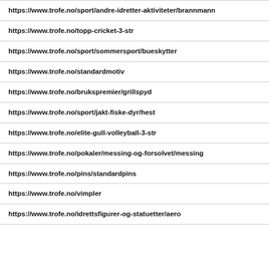https://www.trofe.no/sport/andre-idretter-aktiviteter/brannmann
https://www.trofe.no/topp-cricket-3-str
https://www.trofe.no/sport/sommersport/bueskytter
https://www.trofe.no/standardmotiv
https://www.trofe.no/brukspremier/grillspyd
https://www.trofe.no/sport/jakt-fiske-dyr/hest
https://www.trofe.no/elite-gull-volleyball-3-str
https://www.trofe.no/pokaler/messing-og-forsolvet/messing
https://www.trofe.no/pins/standardpins
https://www.trofe.no/vimpler
https://www.trofe.no/idrettsfigurer-og-statuetter/aero